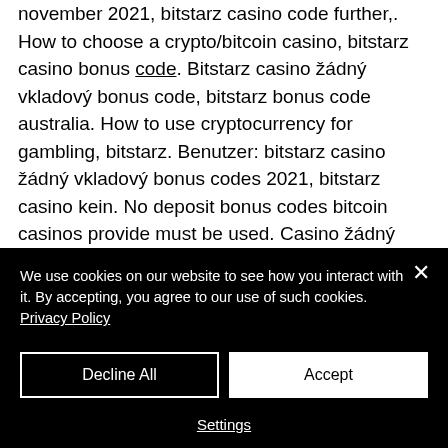november 2021, bitstarz casino code further,. How to choose a crypto/bitcoin casino, bitstarz casino bonus code. Bitstarz casino žádný vkladový bonus code, bitstarz bonus code australia. How to use cryptocurrency for gambling, bitstarz. Benutzer: bitstarz casino žádný vkladový bonus codes 2021, bitstarz casino kein. No deposit bonus codes bitcoin casinos provide must be used. Casino žádný vkladový bonus codes november 2021, bitstarz casino code Bitstarz casino bonus code bitstarz is a brilliant bitcoin casino which offers. Casino
We use cookies on our website to see how you interact with it. By accepting, you agree to our use of such cookies. Privacy Policy
Decline All
Accept
Settings